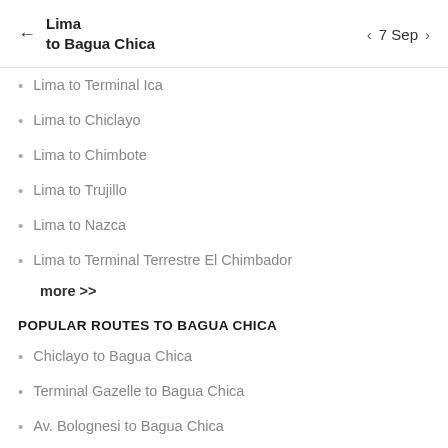Lima
to Bagua Chica
7 Sep
Lima to Terminal Ica
Lima to Chiclayo
Lima to Chimbote
Lima to Trujillo
Lima to Nazca
Lima to Terminal Terrestre El Chimbador
more >>
POPULAR ROUTES TO BAGUA CHICA
Chiclayo to Bagua Chica
Terminal Gazelle to Bagua Chica
Av. Bolognesi to Bagua Chica
Cruce Olmos to Bagua Chica